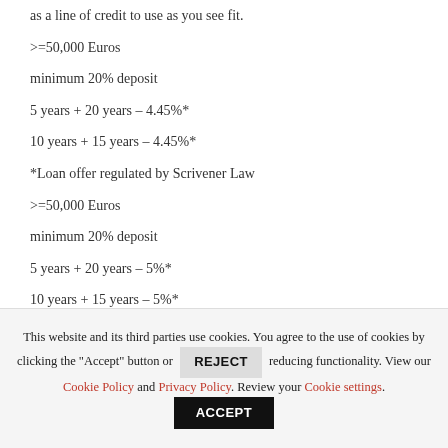as a line of credit to use as you see fit.
>=50,000 Euros
minimum 20% deposit
5 years + 20 years – 4.45%*
10 years + 15 years – 4.45%*
*Loan offer regulated by Scrivener Law
>=50,000 Euros
minimum 20% deposit
5 years + 20 years – 5%*
10 years + 15 years – 5%*
This website and its third parties use cookies. You agree to the use of cookies by clicking the "Accept" button or REJECT reducing functionality. View our Cookie Policy and Privacy Policy. Review your Cookie settings. ACCEPT